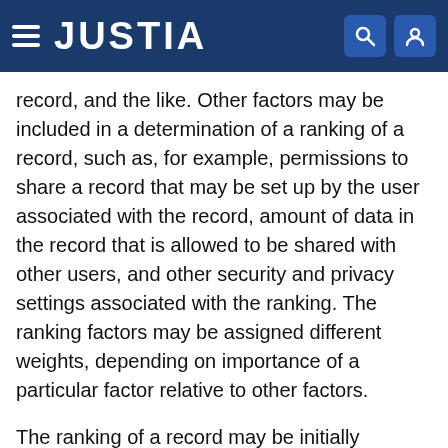JUSTIA
record, and the like. Other factors may be included in a determination of a ranking of a record, such as, for example, permissions to share a record that may be set up by the user associated with the record, amount of data in the record that is allowed to be shared with other users, and other security and privacy settings associated with the ranking. The ranking factors may be assigned different weights, depending on importance of a particular factor relative to other factors.
The ranking of a record may be initially assigned, e.g., by the record provision application(s) 150 when the record is first added to the contact directory 116. The initial ranking value may be selected within a particular value range and/or may be based, at least in part, on the amount of information included in the initial record, for example. The ranking may be updated based, for